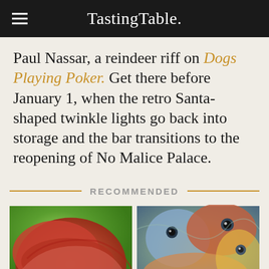Tasting Table.
Paul Nassar, a reindeer riff on Dogs Playing Poker. Get there before January 1, when the retro Santa-shaped twinkle lights go back into storage and the bar transitions to the reopening of No Malice Palace.
RECOMMENDED
[Figure (photo): Close-up photo of raw red meat slices held against a green background]
[Figure (photo): Close-up photo of multiple colorful fish heads grouped together]